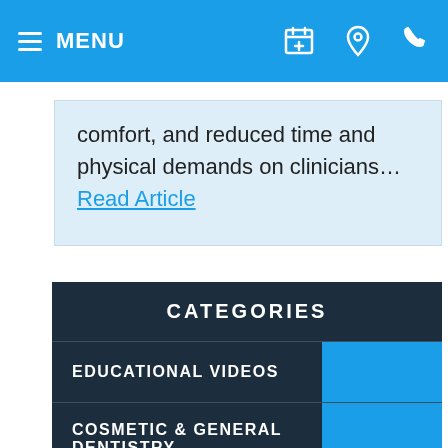≡ MENU
comfort, and reduced time and physical demands on clinicians… Read Article
CATEGORIES
EDUCATIONAL VIDEOS
COSMETIC & GENERAL DENTISTRY
EMERGENCY CARE
ENDODONTICS